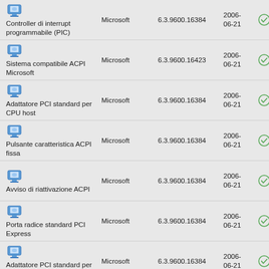| Device | Vendor | Version | Date | Status |
| --- | --- | --- | --- | --- |
| Controller di interrupt programmabile (PIC) | Microsoft | 6.3.9600.16384 | 2006-06-21 | ✓ |
| Sistema compatibile ACPI Microsoft | Microsoft | 6.3.9600.16423 | 2006-06-21 | ✓ |
| Adattatore PCI standard per CPU host | Microsoft | 6.3.9600.16384 | 2006-06-21 | ✓ |
| Pulsante caratteristica ACPI fissa | Microsoft | 6.3.9600.16384 | 2006-06-21 | ✓ |
| Avviso di riattivazione ACPI | Microsoft | 6.3.9600.16384 | 2006-06-21 | ✓ |
| Porta radice standard PCI Express | Microsoft | 6.3.9600.16384 | 2006-06-21 | ✓ |
| Adattatore PCI standard per bus ISA | Microsoft | 6.3.9600.16384 | 2006-06-21 | ✓ |